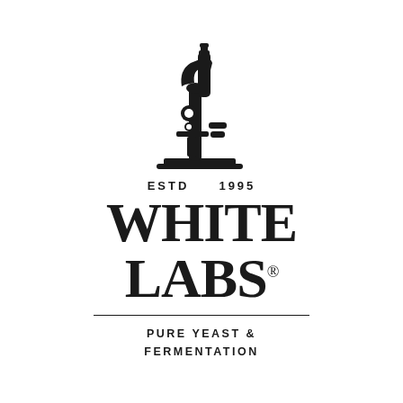[Figure (logo): White Labs logo featuring a microscope illustration with a beer bottle as the eyepiece/tube, above the text ESTD 1995, WHITE LABS with registered trademark symbol, a horizontal divider line, and the tagline PURE YEAST & FERMENTATION]
WHITE LABS®
ESTD   1995
PURE YEAST & FERMENTATION